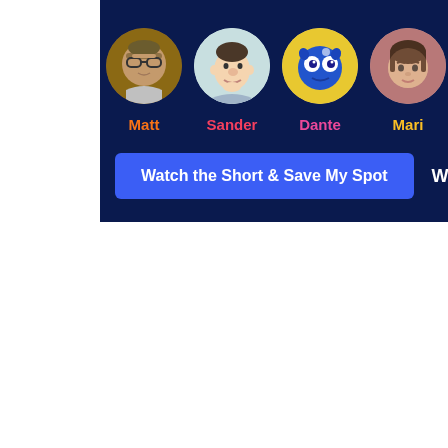[Figure (illustration): Row of circular avatar portraits for characters named Matt, Sander, Dante, Mari, and a partially visible fifth character, on a dark navy background. Each avatar shows a stylized cartoon illustration.]
Matt
Sander
Dante
Mari
Watch the Short & Save My Spot
Webinar August 23r